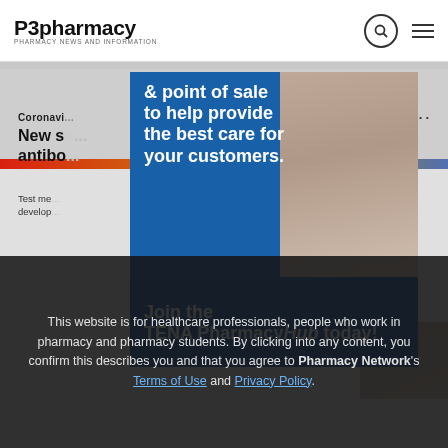P3pharmacy
[Figure (illustration): P3pharmacy website screenshot with banner advertisement showing colored stripe, overlay TENA PharmacyHub advertisement with text '& point of sale to help provide the best care for your customers. Join the TENA PharmacyHub today!' and a photo of a woman using a smartphone]
Coronavirus
New so... antibo...
Test me... develop...
This website is for healthcare professionals, people who work in pharmacy and pharmacy students. By clicking into any content, you confirm this describes you and that you agree to Pharmacy Network's Terms of Use and Privacy Policy.